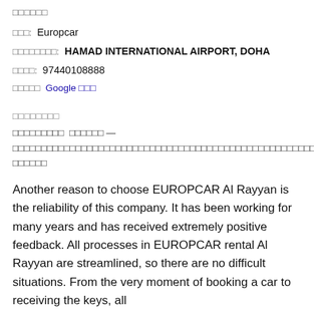□□□□□□
□□□: Europcar
□□□□□□□□: HAMAD INTERNATIONAL AIRPORT, DOHA
□□□□: 97440108888
□□□□□ Google □□□
□□□□□□□□
□□□□□□□□□ □□□□□□ — □□□□□□□□□□□□□□□□□□□□□□□□□□□□□□□□□□□□□□□□□□□□□□□□□□□□□□□□□
Another reason to choose EUROPCAR Al Rayyan is the reliability of this company. It has been working for many years and has received extremely positive feedback. All processes in EUROPCAR rental Al Rayyan are streamlined, so there are no difficult situations. From the very moment of booking a car to receiving the keys, all